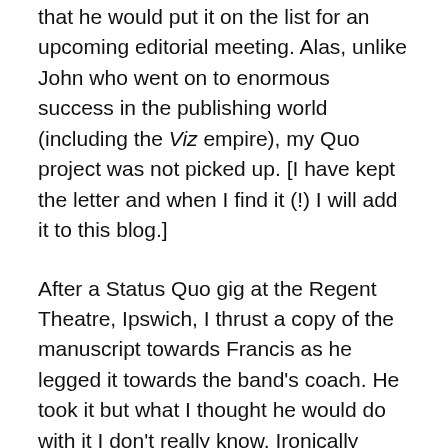that he would put it on the list for an upcoming editorial meeting. Alas, unlike John who went on to enormous success in the publishing world (including the Viz empire), my Quo project was not picked up. [I have kept the letter and when I find it (!) I will add it to this blog.]
After a Status Quo gig at the Regent Theatre, Ipswich, I thrust a copy of the manuscript towards Francis as he legged it towards the band's coach. He took it but what I thought he would do with it I don't really know. Ironically years later I ended working with the band on a documentary and many promo videos but never once mentioned to them the book. [See John Keeling Media]
A while ago I found the typewritten manuscript and painfully managed to produce a PDF from photocopies...